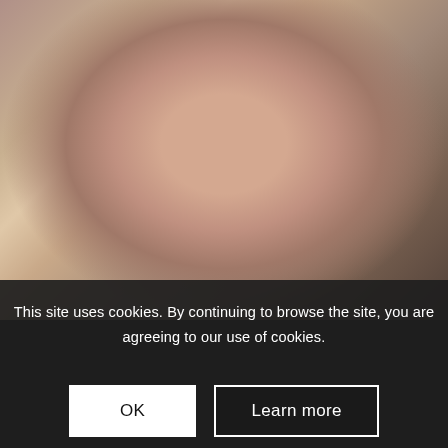[Figure (photo): A young girl with a ponytail wearing a pink polka-dot shirt, leaning over and writing or drawing at a school desk. In the background, a teacher and other classroom elements are visible.]
This site uses cookies. By continuing to browse the site, you are agreeing to our use of cookies.